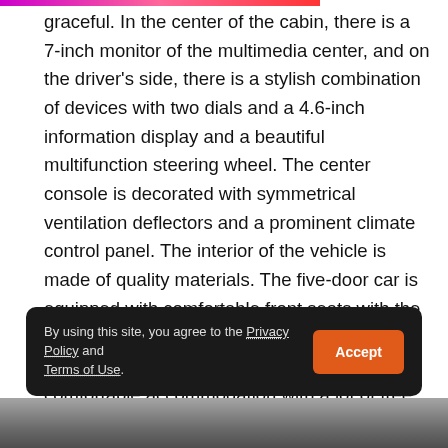graceful. In the center of the cabin, there is a 7-inch monitor of the multimedia center, and on the driver's side, there is a stylish combination of devices with two dials and a 4.6-inch information display and a beautiful multifunction steering wheel. The center console is decorated with symmetrical ventilation deflectors and a prominent climate control panel. The interior of the vehicle is made of quality materials. The five-door car is equipped with comfortable front seats with the optimum rigidity of a filler. The back couch is made for two people, which makes it a comfortable accommodation with a lot of free space. The cargo compartment of the Mazda CX-5 has a volume of 403 liters. The second row of seats can be folded to increase the capacity more than three times — up to 1560 liters.
By using this site, you agree to the Privacy Policy and Terms of Use.